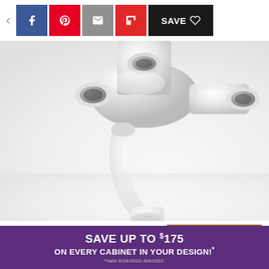[Figure (screenshot): Social media sharing toolbar with back arrow, Facebook, Pinterest, Email, Flipboard buttons and Save button]
[Figure (photo): Close-up photograph of white plastic multi-valve pool pump plumbing pipe assembly against white background]
The multi-valve located on the top of your pool pump can be set to backwash to clean the filter. Image Credit: Pool Supply World
If you h... a DE (di... th) filter system...
[Figure (infographic): Purple advertisement banner: SAVE UP TO $175 ON EVERY CABINET IN YOUR DESIGN! *Valid 8/24/2022-9/6/2022.]